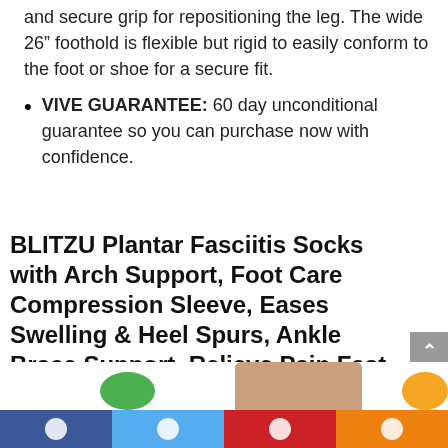and secure grip for repositioning the leg. The wide 26” foothold is flexible but rigid to easily conform to the foot or shoe for a secure fit.
VIVE GUARANTEE: 60 day unconditional guarantee so you can purchase now with confidence.
BLITZU Plantar Fasciitis Socks with Arch Support, Foot Care Compression Sleeve, Eases Swelling & Heel Spurs, Ankle Brace Support, Relieve Pain Fast